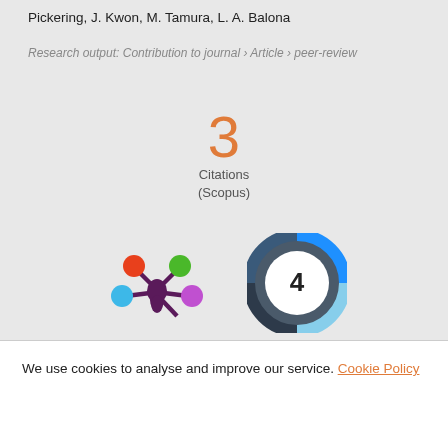Pickering, J. Kwon, M. Tamura, L. A. Balona
Research output: Contribution to journal › Article › peer-review
3 Citations (Scopus)
[Figure (logo): Altmetric flower logo with colored circles]
[Figure (logo): Dimensions donut badge showing 4]
We use cookies to analyse and improve our service. Cookie Policy